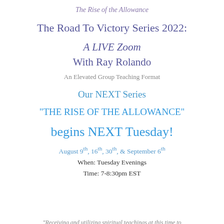The Rise of the Allowance
The Road To Victory Series 2022:
A LIVE Zoom
With Ray Rolando
An Elevated Group Teaching Format
Our NEXT Series
"THE RISE OF THE ALLOWANCE"
begins NEXT Tuesday!
August 9th, 16th, 30th, & September 6th
When: Tuesday Evenings
Time: 7-8:30pm EST
"Receiving and utilizing spiritual teachings at this time to